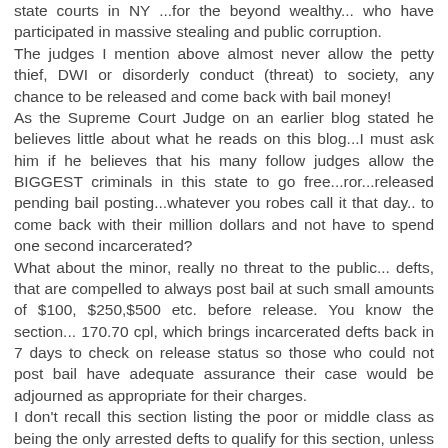state courts in NY ...for the beyond wealthy... who have participated in massive stealing and public corruption. The judges I mention above almost never allow the petty thief, DWI or disorderly conduct (threat) to society, any chance to be released and come back with bail money! As the Supreme Court Judge on an earlier blog stated he believes little about what he reads on this blog...I must ask him if he believes that his many follow judges allow the BIGGEST criminals in this state to go free...ror...released pending bail posting...whatever you robes call it that day.. to come back with their million dollars and not have to spend one second incarcerated? What about the minor, really no threat to the public... defts, that are compelled to always post bail at such small amounts of $100, $250,$500 etc. before release. You know the section... 170.70 cpl, which brings incarcerated defts back in 7 days to check on release status so those who could not post bail have adequate assurance their case would be adjourned as appropriate for their charges. I don't recall this section listing the poor or middle class as being the only arrested defts to qualify for this section, unless you do and want to post that section of the cpl. The